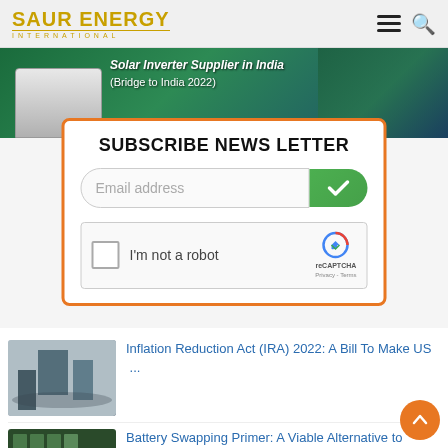SAUR ENERGY INTERNATIONAL
[Figure (screenshot): Banner image showing Solar Inverter Supplier in India (Bridge to India 2022) with a device and green/blue background]
SUBSCRIBE NEWS LETTER
Email address
I'm not a robot
reCAPTCHA Privacy - Terms
Inflation Reduction Act (IRA) 2022: A Bill To Make US ...
Battery Swapping Primer: A Viable Alternative to